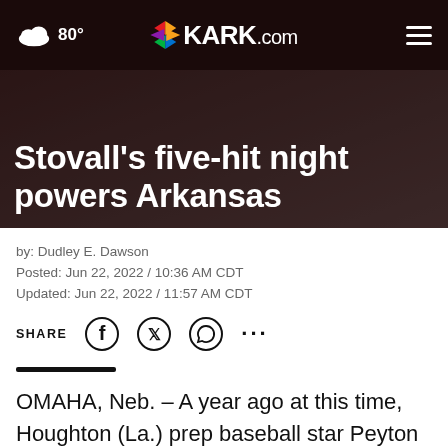80° KARK.com
Stovall's five-hit night powers Arkansas
by: Dudley E. Dawson
Posted: Jun 22, 2022 / 10:36 AM CDT
Updated: Jun 22, 2022 / 11:57 AM CDT
SHARE
OMAHA, Neb. – A year ago at this time, Houghton (La.) prep baseball star Peyton Stovall was contemplating what his future was going to be like the following summ
TAKE THE 1-MINUTE RISK TEST TODAY. DolHavePrediabetes.org